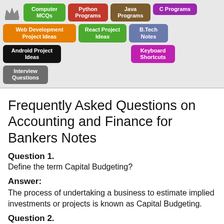Computer MCQs | Python Programs | Java Programs | C Programs | Web Development Project Ideas | React Project Ideas | B.Tech Notes | Android Project Ideas | Keyboard Shortcuts | Interview Questions
Frequently Asked Questions on Accounting and Finance for Bankers Notes
Question 1.
Define the term Capital Budgeting?
Answer:
The process of undertaking a business to estimate implied investments or projects is known as Capital Budgeting.
Question 2.